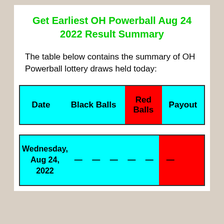Get Earliest OH Powerball Aug 24 2022 Result Summary
The table below contains the summary of OH Powerball lottery draws held today:
| Date | Black Balls | Red Balls | Payout |
| --- | --- | --- | --- |
| Wednesday, Aug 24, 2022 | — — — — — | — |  |